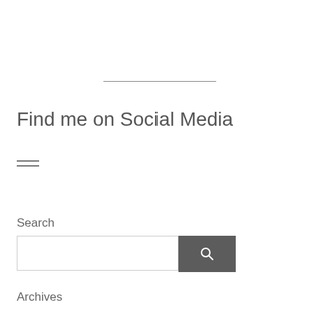Find me on Social Media
[Figure (other): Hamburger menu icon with two horizontal bars]
Search
[Figure (other): Search input box with a dark search button containing a magnifying glass icon]
Archives